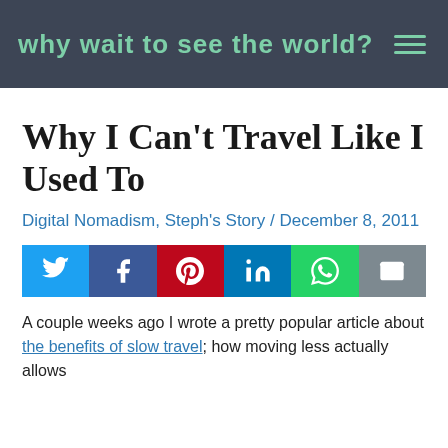WHY WAIT TO SEE THE WORLD?
Why I Can't Travel Like I Used To
Digital Nomadism, Steph's Story / December 8, 2011
[Figure (infographic): Row of social share buttons: Twitter (blue), Facebook (dark blue), Pinterest (red), LinkedIn (blue), WhatsApp (green), Email (grey)]
A couple weeks ago I wrote a pretty popular article about the benefits of slow travel; how moving less actually allows